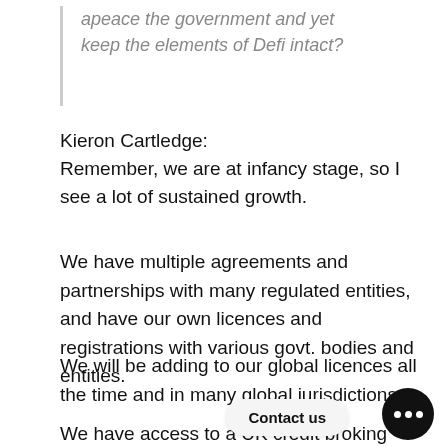apeace the government and yet keep the elements of Defi intact?
Kieron Cartledge:
Remember, we are at infancy stage, so I see a lot of sustained growth.
We have multiple agreements and partnerships with many regulated entities, and have our own licences and registrations with various govt. bodies and entities.
We will be adding to our global licences all the time and in many global jurisdictions.
We have access to a UK credit broking licence, and